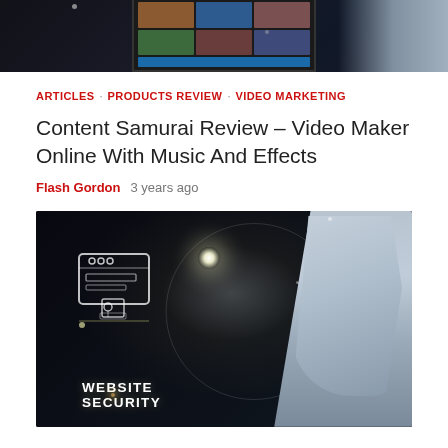[Figure (photo): Top cropped image showing a tablet/screen device with photo thumbnails and a blue button, dark background with a hand or interface element on the right side]
ARTICLES · PRODUCTS REVIEW · VIDEO MARKETING
Content Samurai Review – Video Maker Online With Music And Effects
Flash Gordon   3 years ago
[Figure (photo): Dark technology background showing a hand pointing at a glowing website security icon with browser window and padlock graphic, text reads WEBSITE SECURITY]